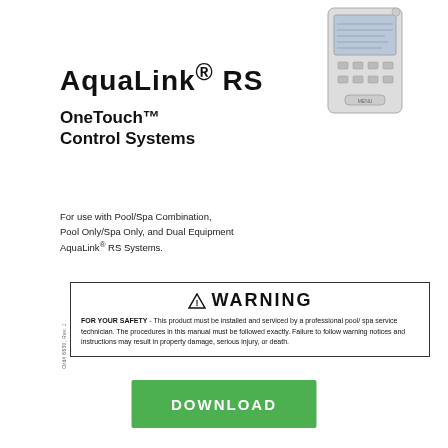[Figure (photo): AquaLink RS OneTouch control panel device, a white rectangular unit with display screen and buttons]
AquaLink® RS
OneTouch™ Control Systems
For use with Pool/Spa Combination, Pool Only/Spa Only, and Dual Equipment AquaLink® RS Systems.
WARNING
FOR YOUR SAFETY - This product must be installed and serviced by a professional pool/spa service technician. The procedures in this manual must be followed exactly. Failure to follow warning notices and instructions may result in property damage, serious injury, or death.
DOWNLOAD